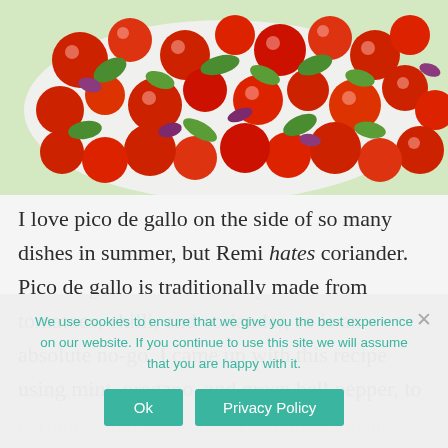[Figure (photo): Close-up photograph of a bowl of pico de gallo / tomato salsa with cherry tomatoes, green peppers, and red onion]
I love pico de gallo on the side of so many dishes in summer, but Remi hates coriander. Pico de gallo is traditionally made from tomatoes, chilli, and coriander, so is an absolute no-go. I came up with this recipe using mint, oregano, and green bell pepper, to mimic the bitter and fragrant flavour of coriander and up a glot of tomatoliciousness.
We use cookies to ensure that we give you the best experience on our website. If you continue to use this site we will assume that you are happy with it.